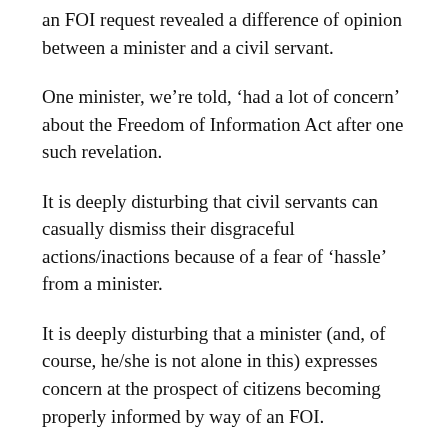an FOI request revealed a difference of opinion between a minister and a civil servant.
One minister, we’re told, ‘had a lot of concern’ about the Freedom of Information Act after one such revelation.
It is deeply disturbing that civil servants can casually dismiss their disgraceful actions/inactions because of a fear of ‘hassle’ from a minister.
It is deeply disturbing that a minister (and, of course, he/she is not alone in this) expresses concern at the prospect of citizens becoming properly informed by way of an FOI.